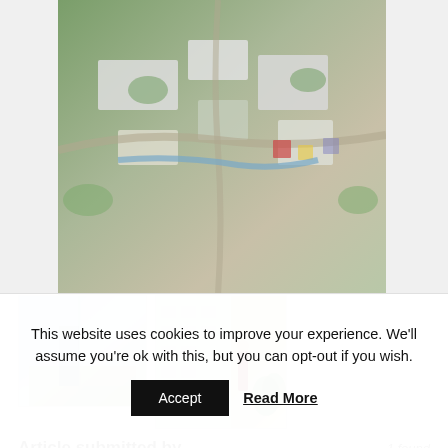[Figure (photo): Aerial view rendering of a large urban development/campus with white buildings, green spaces, and water features]
[Figure (photo): Interior view of a modern building with large glass windows overlooking a green urban landscape]
[Figure (photo): Exterior view of modern apartment buildings with a person standing on a balcony looking at their phone]
Article submitted by
1 found
Grant Associates
Grant Associates are a landscape architecture and urban design practice offering a global service from bases in Bath, UK and
This website uses cookies to improve your experience. We'll assume you're ok with this, but you can opt-out if you wish.
Accept
Read More